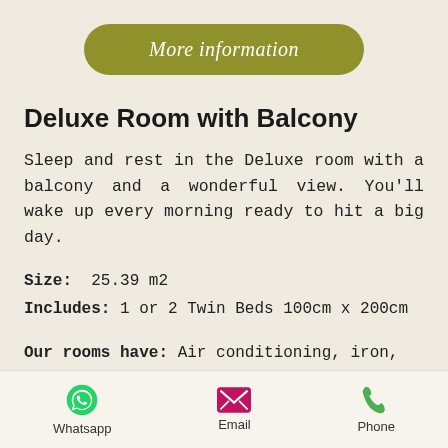[Figure (other): Olive/green rounded button labeled 'More information']
Deluxe Room with Balcony
Sleep and rest in the Deluxe room with a balcony and a wonderful view. You'll wake up every morning ready to hit a big day.
Size: 25.39 m2
Includes: 1 or 2 Twin Beds 100cm x 200cm
Our rooms have: Air conditioning, iron, hair dryer, ironing table, mini bar.
Whatsapp   Email   Phone